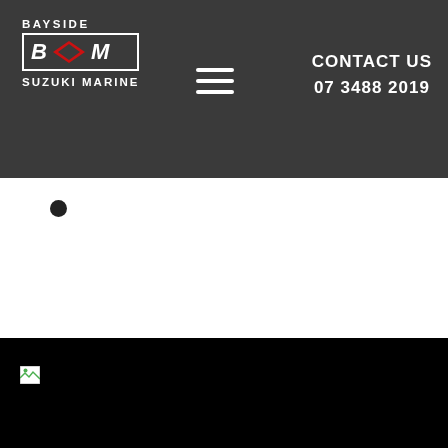[Figure (logo): Bayside Suzuki Marine logo with BSM text in bordered box and red Suzuki chevron badge]
CONTACT US
07 3488 2019
[Figure (other): Hamburger menu icon (three horizontal white lines)]
•
[Figure (photo): Large black image area with a broken image icon in the lower left corner]